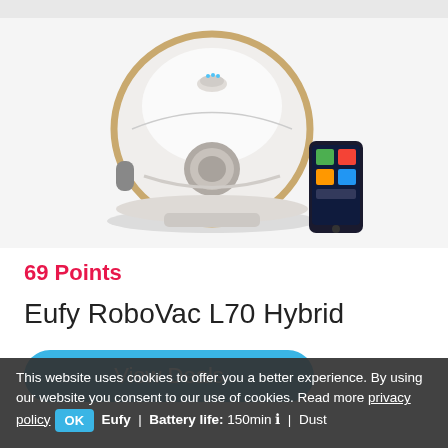[Figure (photo): Eufy RoboVac L70 Hybrid robot vacuum cleaner shown from a slight angle with a smartphone displaying the control app beside it. The robot is white and gold/silver in color, circular disc shape with a metallic center piece.]
69 Points
Eufy RoboVac L70 Hybrid
View Deals
This website uses cookies to offer you a better experience. By using our website you consent to our use of cookies. Read more privacy policy OK
Brand: Eufy | Battery life: 150min | Dust bin volume: 0.45L ...